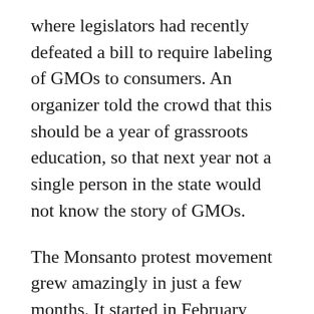where legislators had recently defeated a bill to require labeling of GMOs to consumers. An organizer told the crowd that this should be a year of grassroots education, so that next year not a single person in the state would not know the story of GMOs.
The Monsanto protest movement grew amazingly in just a few months. It started in February when organizer Tami Canal created a Facebook page calling for mass demonstrations. Canal has told the press that the movement will build on the successful May 26 actions: “We will continue until Monsanto complies with consumer demand. They are